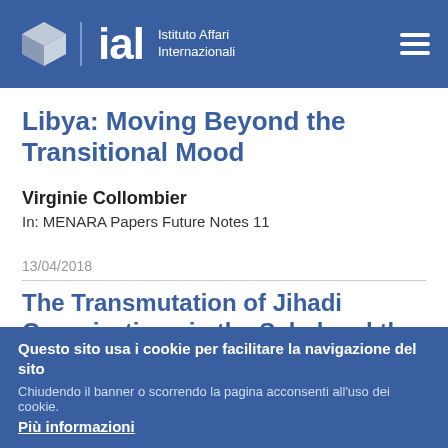[Figure (logo): IAI - Istituto Affari Internazionali logo with cube icon and text]
Libya: Moving Beyond the Transitional Mood
Virginie Collombier
In: MENARA Papers Future Notes 11
13/04/2018
The Transmutation of Jihadi Organizations in the Sahel and the
Questo sito usa i cookie per facilitare la navigazione del sito
Chiudendo il banner o scorrendo la pagina acconsenti all'uso dei cookie.
Più informazioni